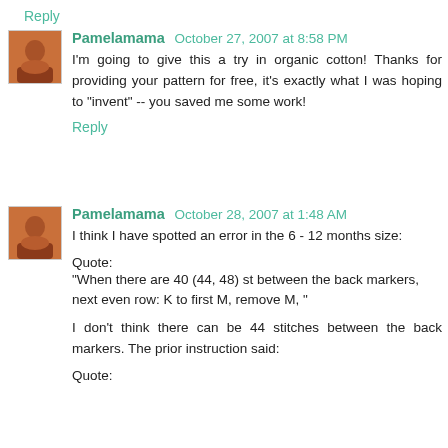Reply
Pamelamama October 27, 2007 at 8:58 PM
I'm going to give this a try in organic cotton! Thanks for providing your pattern for free, it's exactly what I was hoping to "invent" -- you saved me some work!
Reply
Pamelamama October 28, 2007 at 1:48 AM
I think I have spotted an error in the 6 - 12 months size:
Quote:
"When there are 40 (44, 48) st between the back markers, next even row: K to first M, remove M, "
I don't think there can be 44 stitches between the back markers. The prior instruction said:
Quote: